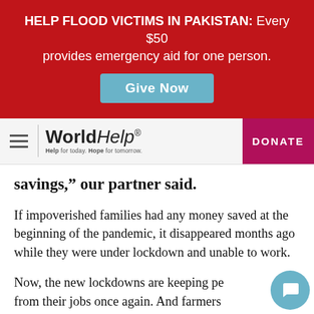HELP FLOOD VICTIMS IN PAKISTAN: Every $50 provides emergency aid for one person.
Give Now
[Figure (logo): World Help logo with tagline 'Help for today. Hope for tomorrow.']
DONATE
savings,” our partner said.
If impoverished families had any money saved at the beginning of the pandemic, it disappeared months ago while they were under lockdown and unable to work.
Now, the new lockdowns are keeping people from their jobs once again. And farmers haven’t been able to sell their crops and